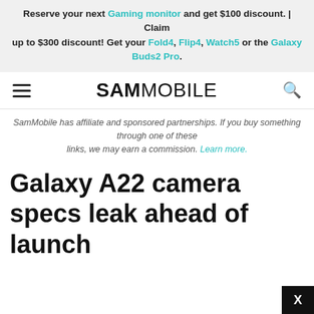Reserve your next Gaming monitor and get $100 discount. | Claim up to $300 discount! Get your Fold4, Flip4, Watch5 or the Galaxy Buds2 Pro.
SAMMOBILE
SamMobile has affiliate and sponsored partnerships. If you buy something through one of these links, we may earn a commission. Learn more.
Galaxy A22 camera specs leak ahead of launch